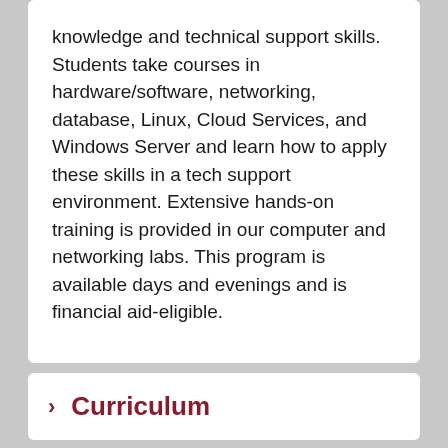knowledge and technical support skills. Students take courses in hardware/software, networking, database, Linux, Cloud Services, and Windows Server and learn how to apply these skills in a tech support environment. Extensive hands-on training is provided in our computer and networking labs. This program is available days and evenings and is financial aid-eligible.
Curriculum
Career Information
Faculty